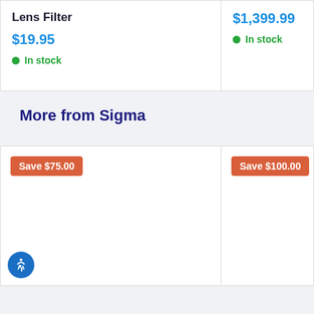Lens Filter
$19.95
In stock
$1,399.99
In stock
More from Sigma
Save $75.00
Save $100.00